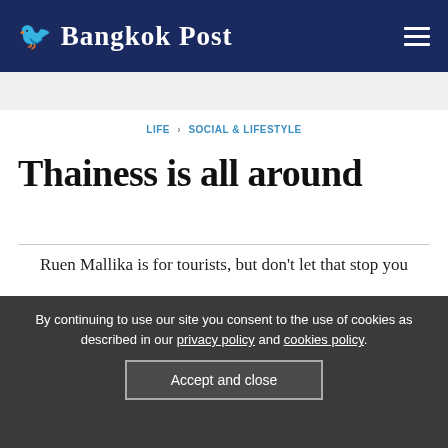Bangkok Post
LIFE › SOCIAL & LIFESTYLE
Thainess is all around
Ruen Mallika is for tourists, but don't let that stop you
PUBLISHED : 3 NOV 2017 AT 04:00
NEWSPAPER SECTION: LIFE
By continuing to use our site you consent to the use of cookies as described in our privacy policy and cookies policy.
Accept and close